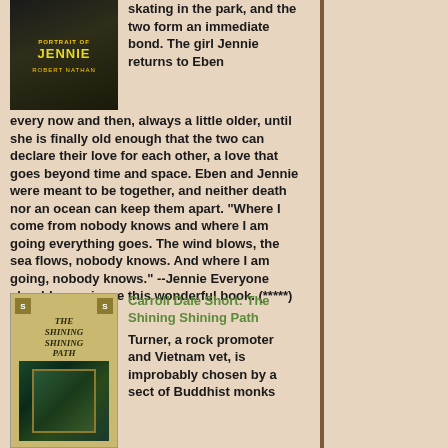[Figure (illustration): Book cover of 'Portrait of Jennie' by Robert Nathan, dark background with yellow title text]
skating in the park, and the two form an immediate bond. The girl Jennie returns to Eben every now and then, always a little older, until she is finally old enough that the two can declare their love for each other, a love that goes beyond time and space. Eben and Jennie were meant to be together, and neither death nor an ocean can keep them apart. "Where I come from nobody knows and where I am going everything goes. The wind blows, the sea flows, nobody knows. And where I am going, nobody knows." --Jennie Everyone should experience this wonderful book. (*****)
[Figure (illustration): Book cover of 'The Shining Shining Path' with decorative border and artistic imagery]
Carroll Dale Short: The Shining Shining Path
Turner, a rock promoter and Vietnam vet, is improbably chosen by a sect of Buddhist monks